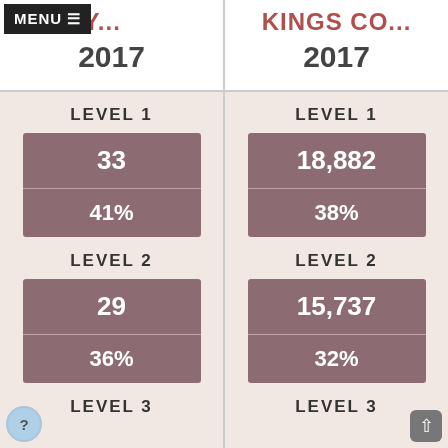MENU ≡
BROOKLY...
KINGS CO...
2017
2017
LEVEL 1
| Metric | Value |
| --- | --- |
| Count | 33 |
| Percentage | 41% |
LEVEL 1
| Metric | Value |
| --- | --- |
| Count | 18,882 |
| Percentage | 38% |
LEVEL 2
| Metric | Value |
| --- | --- |
| Count | 29 |
| Percentage | 36% |
LEVEL 2
| Metric | Value |
| --- | --- |
| Count | 15,737 |
| Percentage | 32% |
LEVEL 3
LEVEL 3